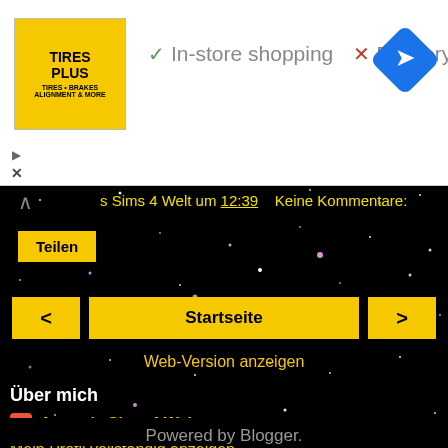[Figure (screenshot): Ad banner: Tires Plus logo (yellow square), checkmark In-store shopping, X Delivery, blue navigation diamond icon]
[Figure (screenshot): Dark blog page with starry black background, navigation controls, blog info and Powered by Blogger footer]
✓ In-store shopping  ✗ Delivery
s Sims 4 Welt um 12:39   Keine Kommentare:
Teilen
< Startseite >
Web-Version anzeigen
Über mich
Annett's Sims 4 Welt
Mein Profil vollständig anzeigen
Powered by Blogger.